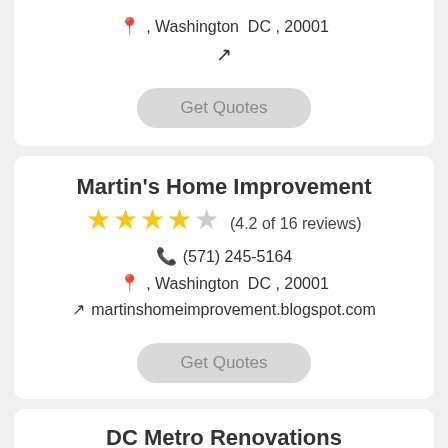, Washington DC , 20001
(external link icon)
Get Quotes
Martin's Home Improvement
(4.2 of 16 reviews)
(571) 245-5164
, Washington DC , 20001
martinshomeimprovement.blogspot.com
Get Quotes
DC Metro Renovations
(4.4 of 13 reviews)